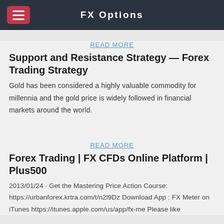FX Options
READ MORE
Support and Resistance Strategy — Forex Trading Strategy
Gold has been considered a highly valuable commodity for millennia and the gold price is widely followed in financial markets around the world.
READ MORE
Forex Trading | FX CFDs Online Platform | Plus500
2013/01/24 · Get the Mastering Price Action Course: https://urbanforex.krtra.com/t/n2l9Dz Download App : FX Meter on iTunes https://itunes.apple.com/us/app/fx-me Please like